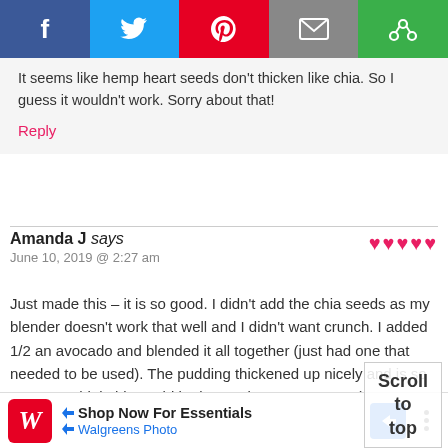[Figure (other): Social share bar with Facebook, Twitter, Pinterest, Email, and another share button]
It seems like hemp heart seeds don't thicken like chia. So I guess it wouldn't work. Sorry about that!
Reply
Amanda J says
June 10, 2019 @ 2:27 am
Just made this – it is so good. I didn't add the chia seeds as my blender doesn't work that well and I didn't want crunch. I added 1/2 an avocado and blended it all together (just had one that needed to be used). The pudding thickened up nicely and is so yummy! I think this could be keto using yacon syrup (my son
[Figure (other): Walgreens Photo advertisement banner: Shop Now For Essentials]
Scroll to top